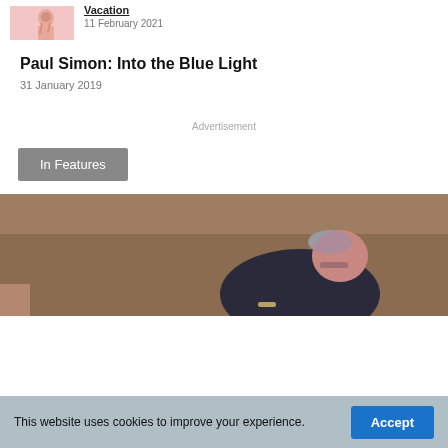[Figure (photo): Small thumbnail of a person on pink background, partial view]
Vacation
11 February 2021
Paul Simon: Into the Blue Light
31 January 2019
Advertisement
In Features
[Figure (photo): Man leaning over, playing a wind instrument, photographed in warm indoor lighting with brown/reddish tones]
This website uses cookies to improve your experience.